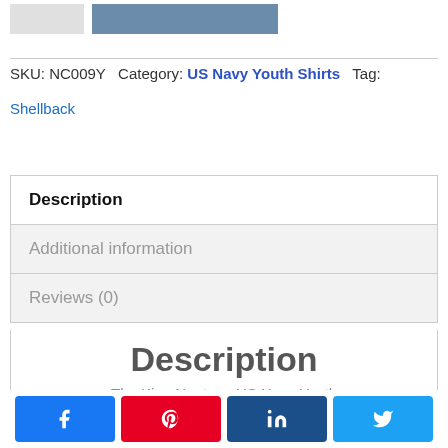[Figure (screenshot): Top bar with gray and blue thumbnail rectangles]
SKU: NC009Y  Category: US Navy Youth Shirts  Tag:
Shellback
Description
Additional information
Reviews (0)
Description
The King Neptune US Navy Youth
[Figure (infographic): Social sharing buttons: Facebook, Pinterest, LinkedIn, Twitter]